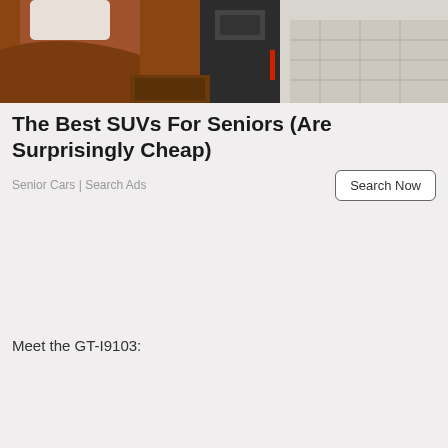[Figure (photo): Car interior showing tan/brown leather seats and white leather seats with diamond stitching, center console visible]
The Best SUVs For Seniors (Are Surprisingly Cheap)
Senior Cars | Search Ads
Meet the GT-I9103: